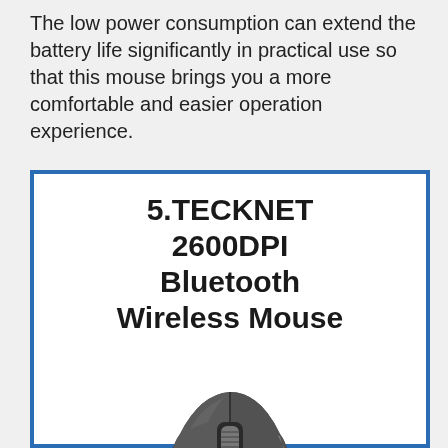The low power consumption can extend the battery life significantly in practical use so that this mouse brings you a more comfortable and easier operation experience.
[Figure (illustration): Product feature box with blue border containing the title '5.TECKNET 2600DPI Bluetooth Wireless Mouse' in bold black text, and a photo of a dark grey Bluetooth wireless mouse below the title.]